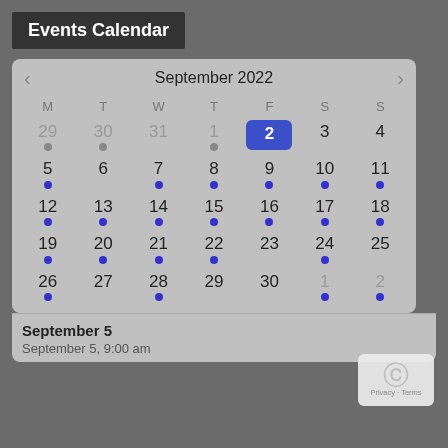Events Calendar
[Figure (other): September 2022 calendar widget with navigation arrows. Days of week headers: M T W T F S S. Week 1: 29(gray dot), 30(gray dot), 31, 1(gray dot), 2(selected/highlighted blue), 3, 4. Week 2: 5(blue dot), 6, 7(blue dot), 8(blue dot), 9(blue dot), 10(blue dot), 11(blue dot). Week 3: 12(blue dot), 13(blue dot), 14(blue dot), 15(blue dot), 16(blue dot), 17(blue dot), 18(blue dot). Week 4: 19(blue dot), 20(blue dot), 21(blue dot), 22(blue dot), 23, 24(blue dot), 25. Week 5: 26(blue dot), 27, 28(blue dot), 29, 30, 1(blue dot), 2(blue dot).]
September 5
September 5, 9:00 am